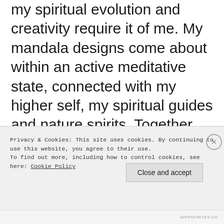my spiritual evolution and creativity require it of me. My mandala designs come about within an active meditative state, connected with my higher self, my spiritual guides and nature spirits. Together, we bring into form, mandala art the allows me to re-connect with my own inner peace and joy, letting me explore and expand my own creative spirit to however far and in whatever
Privacy & Cookies: This site uses cookies. By continuing to use this website, you agree to their use. To find out more, including how to control cookies, see here: Cookie Policy
Close and accept